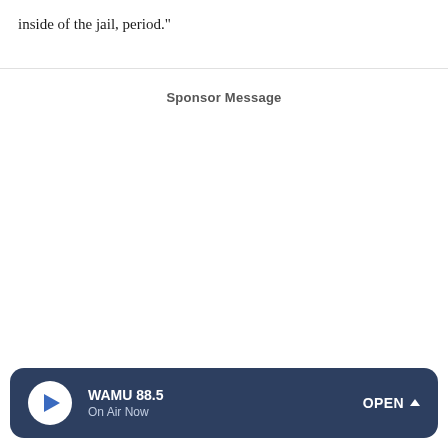inside of the jail, period."
Sponsor Message
WAMU 88.5 | On Air Now | OPEN ^